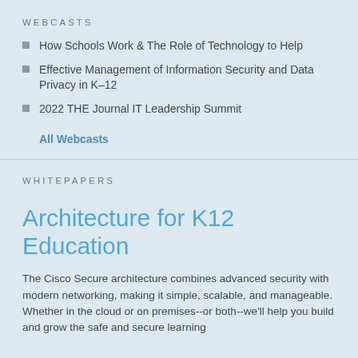WEBCASTS
How Schools Work & The Role of Technology to Help
Effective Management of Information Security and Data Privacy in K–12
2022 THE Journal IT Leadership Summit
All Webcasts
WHITEPAPERS
Architecture for K12 Education
The Cisco Secure architecture combines advanced security with modern networking, making it simple, scalable, and manageable. Whether in the cloud or on premises--or both--we'll help you build and grow the safe and secure learning